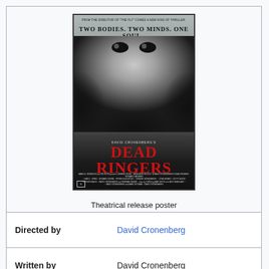[Figure (photo): Theatrical release poster for Dead Ringers (1988) directed by David Cronenberg. Shows two blurred faces merging, with tagline 'TWO BODIES. TWO MINDS. ONE SOUL..' and subtitle 'FROM THE DIRECTOR OF "THE FLY" COMES A NEW KIND OF THRILLER.' Title reads 'DAVID CRONENBERG'S DEAD RINGERS' in red lettering.]
Theatrical release poster
| Directed by | David Cronenberg |
| Written by | David Cronenberg |